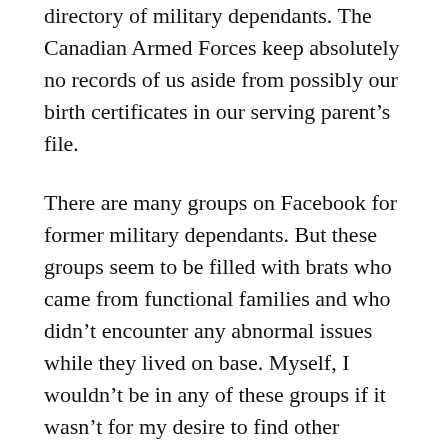directory of military dependants. The Canadian Armed Forces keep absolutely no records of us aside from possibly our birth certificates in our serving parent's file.
There are many groups on Facebook for former military dependants. But these groups seem to be filled with brats who came from functional families and who didn't encounter any abnormal issues while they lived on base. Myself, I wouldn't be in any of these groups if it wasn't for my desire to find other former brats who had problems on base.
Some of the brats that I know are only in one group out of the many groups on Facebook for base brats. And they're usually only in the one